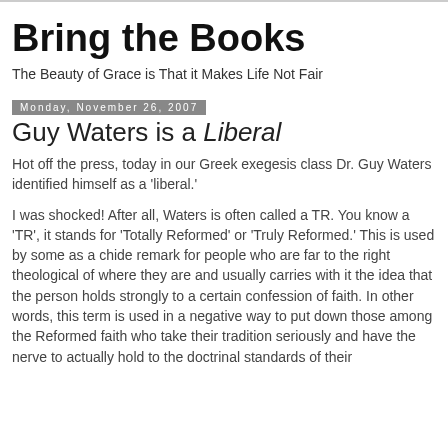Bring the Books
The Beauty of Grace is That it Makes Life Not Fair
Monday, November 26, 2007
Guy Waters is a Liberal
Hot off the press, today in our Greek exegesis class Dr. Guy Waters identified himself as a 'liberal.' I was shocked! After all, Waters is often called a TR. You know a 'TR', it stands for 'Totally Reformed' or 'Truly Reformed.' This is used by some as a chide remark for people who are far to the right theological of where they are and usually carries with it the idea that the person holds strongly to a certain confession of faith. In other words, this term is used in a negative way to put down those among the Reformed faith who take their tradition seriously and have the nerve to actually hold to the doctrinal standards of their